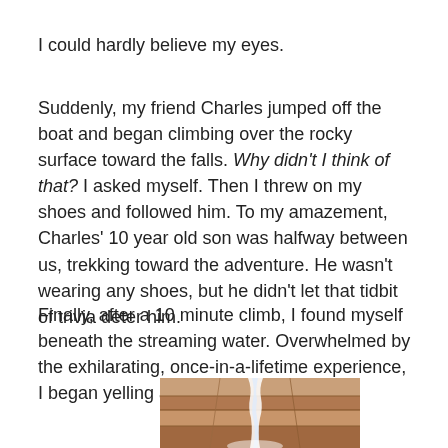I could hardly believe my eyes.
Suddenly, my friend Charles jumped off the boat and began climbing over the rocky surface toward the falls. Why didn't I think of that? I asked myself. Then I threw on my shoes and followed him. To my amazement, Charles' 10 year old son was halfway between us, trekking toward the adventure. He wasn't wearing any shoes, but he didn't let that tidbit of trivia deter him.
Finally, after a 10 minute climb, I found myself beneath the streaming water. Overwhelmed by the exhilarating, once-in-a-lifetime experience, I began yelling at the top of my lungs.
[Figure (photo): A waterfall cascading over rocky brown/orange stone surface, photo partially cropped at bottom of page.]